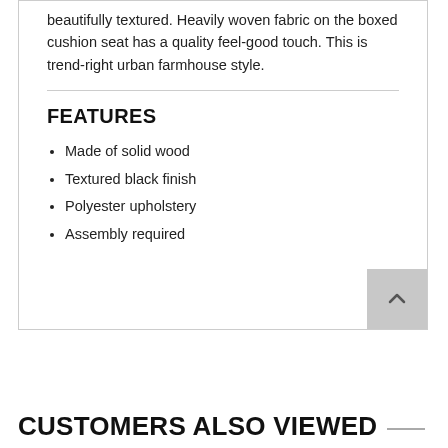beautifully textured. Heavily woven fabric on the boxed cushion seat has a quality feel-good touch. This is trend-right urban farmhouse style.
FEATURES
Made of solid wood
Textured black finish
Polyester upholstery
Assembly required
CUSTOMERS ALSO VIEWED